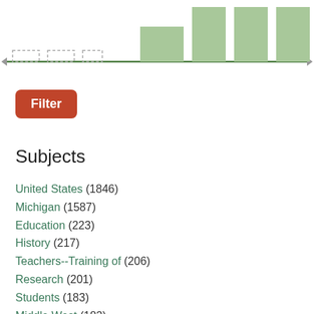[Figure (bar-chart): Partial bar chart visible at top of page showing green bars of varying heights along a horizontal green baseline with arrow markers at each end. Several bars visible at right side are taller; bars at left are shorter/dashed.]
Filter
Subjects
United States (1846)
Michigan (1587)
Education (223)
History (217)
Teachers--Training of (206)
Research (201)
Students (183)
Middle West (182)
Agriculture--Economic aspects (177)
Michigan State University (169)
Show more